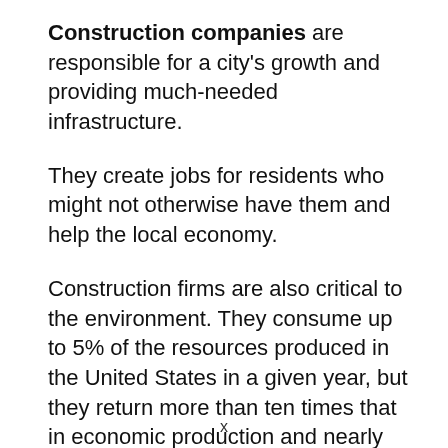Construction companies are responsible for a city's growth and providing much-needed infrastructure.
They create jobs for residents who might not otherwise have them and help the local economy.
Construction firms are also critical to the environment. They consume up to 5% of the resources produced in the United States in a given year, but they return more than ten times that in economic production and nearly seven times that in taxes and fees.
x